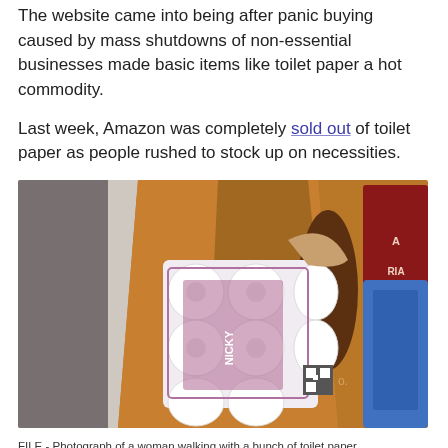The website came into being after panic buying caused by mass shutdowns of non-essential businesses made basic items like toilet paper a hot commodity.
Last week, Amazon was completely sold out of toilet paper as people rushed to stock up on necessities.
[Figure (photo): FILE photo of a woman walking carrying a large multi-pack of Nicky brand toilet paper rolls in a purple/maroon packaging, wearing a brown jacket, with a blue bag visible on her right side and a red storefront sign in the background.]
FILE - Photograph of a woman walking with a bunch of toilet paper. (Photo by Alvaro Hurtado/NurPhoto via Getty Images)